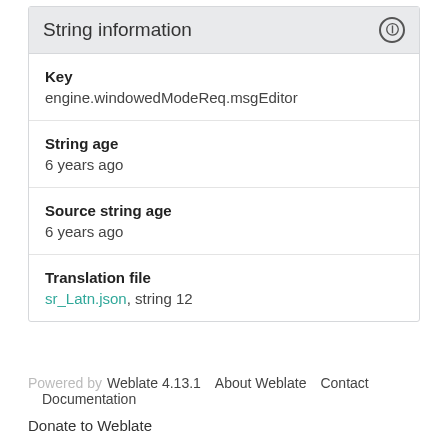String information
Key
engine.windowedModeReq.msgEditor
String age
6 years ago
Source string age
6 years ago
Translation file
sr_Latn.json, string 12
Powered by Weblate 4.13.1   About Weblate   Contact   Documentation
Donate to Weblate